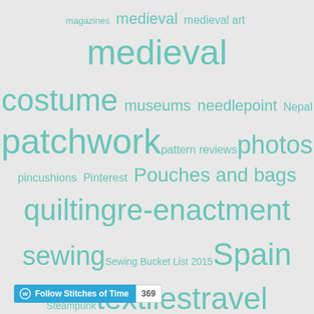[Figure (infographic): Tag cloud with terms related to sewing, textiles, and crafts in teal/mint color on light gray background. Tags vary in size indicating frequency/importance. Terms include: magazines, medieval, medieval art, medieval, costume, museums, needlepoint, Nepal, patchwork, pattern reviews, photos, pincushions, Pinterest, Pouches and bags, quilting, re-enactment, sewing, Sewing Bucket List 2015, Spain, Steampunk, textiles, travel, Uncategorized, videos, vintage textiles, vlogs, walks, whitework, WW2, xmas ornies]
Follow Stitches of Time 369